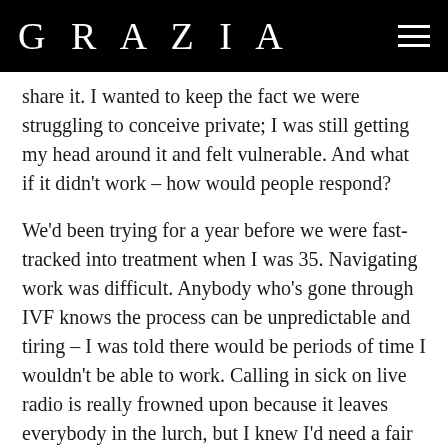GRAZIA
share it. I wanted to keep the fact we were struggling to conceive private; I was still getting my head around it and felt vulnerable. And what if it didn't work – how would people respond?
We'd been trying for a year before we were fast-tracked into treatment when I was 35. Navigating work was difficult. Anybody who's gone through IVF knows the process can be unpredictable and tiring – I was told there would be periods of time I wouldn't be able to work. Calling in sick on live radio is really frowned upon because it leaves everybody in the lurch, but I knew I'd need a fair bit of flexibility. There were also a lot of morning